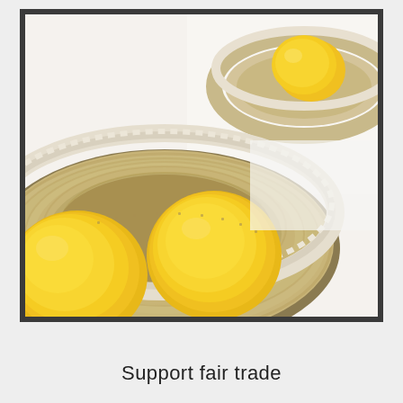[Figure (photo): Close-up photograph of woven jute/rope baskets containing yellow lemons on a white surface. Foreground shows a large round woven basket with two lemons; background shows a smaller basket with one lemon.]
Support fair trade